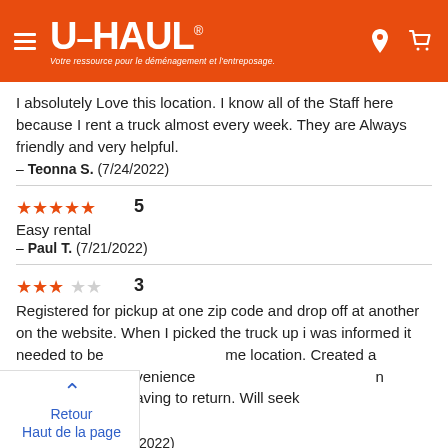U-HAUL — Votre ressource pour le déménagement et l'entreposage.
I absolutely Love this location. I know all of the Staff here because I rent a truck almost every week. They are Always friendly and very helpful.
— Teonna S.  (7/24/2022)
★★★★★ 5
Easy rental
— Paul T.  (7/21/2022)
★★★☆☆ 3
Registered for pickup at one zip code and drop off at another on the website. When I picked the truck up i was informed it needed to be returned to the same location. Created a tremendous inconvenience and the cost was more than expected due to having to return. Will seek another company next time.
— Thomas D.  (7/21/2022)
Retour
Haut de la page